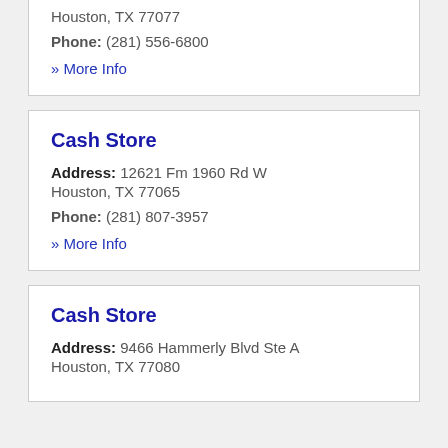Houston, TX 77077
Phone: (281) 556-6800
» More Info
Cash Store
Address: 12621 Fm 1960 Rd W Houston, TX 77065
Phone: (281) 807-3957
» More Info
Cash Store
Address: 9466 Hammerly Blvd Ste A Houston, TX 77080